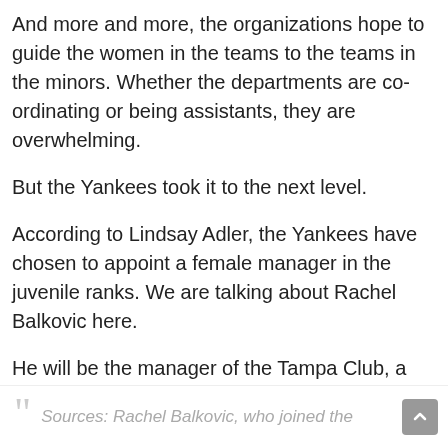And more and more, the organizations hope to guide the women in the teams to the teams in the minors. Whether the departments are co-ordinating or being assistants, they are overwhelming.
But the Yankees took it to the next level.
According to Lindsay Adler, the Yankees have chosen to appoint a female manager in the juvenile ranks. We are talking about Rachel Balkovic here.
He will be the manager of the Tampa Club, a club called Tarpons that play in A.
Sources: Rachel Balkovic, who joined the